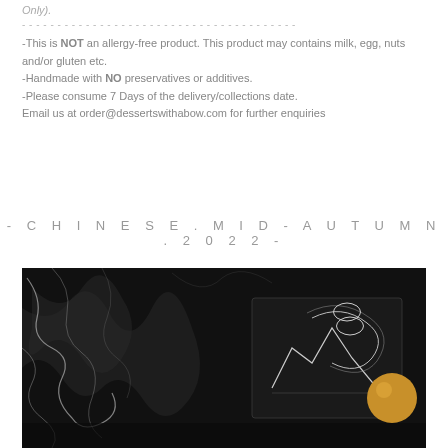Only).
----------------------------------------
-This is NOT an allergy-free product. This product may contains milk, egg, nuts and/or gluten etc.
-Handmade with NO preservatives or additives.
-Please consume 7 Days of the delivery/collections date.
Email us at order@dessertswithabow.com for further enquiries
- C H I N E S E . M I D - A U T U M N . 2 0 2 2 -
[Figure (photo): Dark marble background with a black gift box featuring decorative line art (mountains and abstract patterns) and a golden/amber sphere, in a dark moody product photography style]